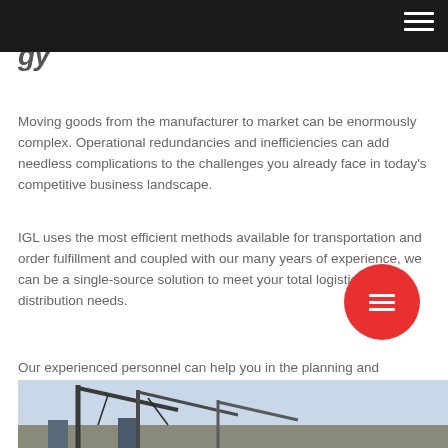gy
Moving goods from the manufacturer to market can be enormously complex. Operational redundancies and inefficiencies can add needless complications to the challenges you already face in today’s competitive business landscape.
IGL uses the most efficient methods available for transportation and order fulfillment and coupled with our many years of experience, we can be a single-source solution to meet your total logistics and distribution needs.
Our experienced personnel can help you in the planning and streamlining of your supply chain so that you get the maximum benefit from it, enhancing your competitive advanta…
[Figure (photo): Industrial crane or port machinery against a sky background, partially visible at the bottom of the page.]